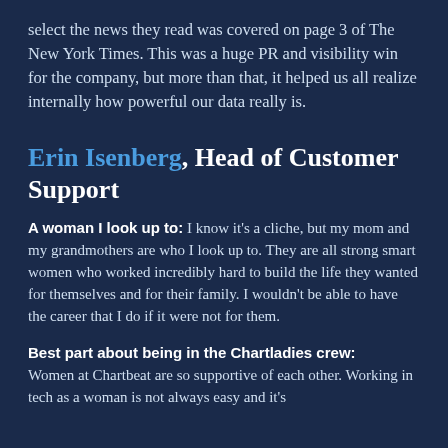select the news they read was covered on page 3 of The New York Times. This was a huge PR and visibility win for the company, but more than that, it helped us all realize internally how powerful our data really is.
Erin Isenberg, Head of Customer Support
A woman I look up to: I know it's a cliche, but my mom and my grandmothers are who I look up to. They are all strong smart women who worked incredibly hard to build the life they wanted for themselves and for their family. I wouldn't be able to have the career that I do if it were not for them.
Best part about being in the Chartladies crew: Women at Chartbeat are so supportive of each other. Working in tech as a woman is not always easy and it's